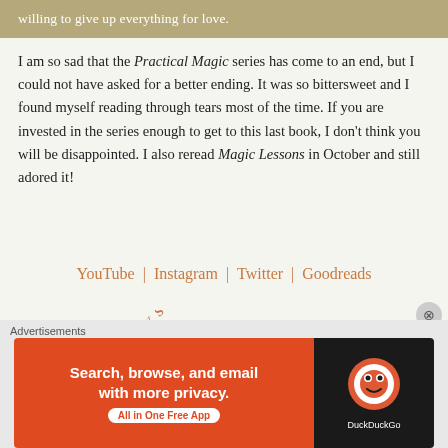willing to give up everything for love.
I am so sad that the Practical Magic series has come to an end, but I could not have asked for a better ending. It was so bittersweet and I found myself reading through tears most of the time. If you are invested in the series enough to get to this last book, I don't think you will be disappointed. I also reread Magic Lessons in October and still adored it!
YouTube | Instagram | Twitter | Goodreads
[Figure (other): Circular badge with text 'ENJOYS THE' arranged in an arc, with a light peach/orange circular shape below]
Advertisements
[Figure (screenshot): DuckDuckGo advertisement banner: 'Search, browse, and email with more privacy. All in One Free App' on orange background with DuckDuckGo logo on dark background]